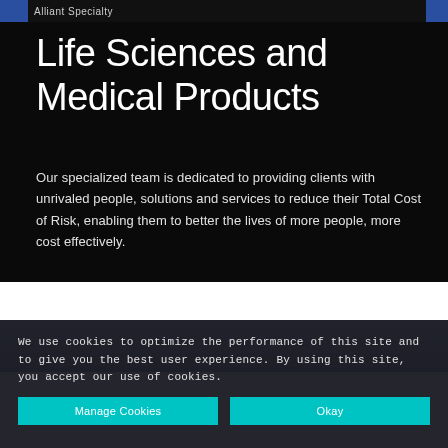Alliant Specialty
Life Sciences and Medical Products
Our specialized team is dedicated to providing clients with unrivaled people, solutions and services to reduce their Total Cost of Risk, enabling them to better the lives of more people, more cost effectively.
[Figure (photo): Blurred photo of a lab or medical products setting with teal/blue tones]
We use cookies to optimize the performance of this site and to give you the best user experience. By using this site, you accept our use of cookies.
Manage Cookies
Okay